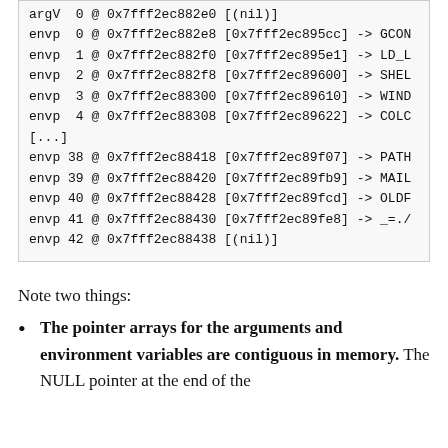[Figure (screenshot): Code block showing memory addresses for envp entries 0-4, [...], 38-42 with hex addresses and variable names (partially cut off on right)]
Note two things:
The pointer arrays for the arguments and environment variables are contiguous in memory. The NULL pointer at the end of the